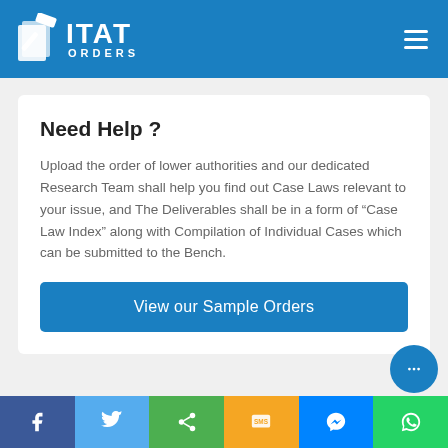ITAT ORDERS
Need Help ?
Upload the order of lower authorities and our dedicated Research Team shall help you find out Case Laws relevant to your issue, and The Deliverables shall be in a form of “Case Law Index” along with Compilation of Individual Cases which can be submitted to the Bench.
View our Sample Orders
Facebook Twitter Share SMS Messenger WhatsApp